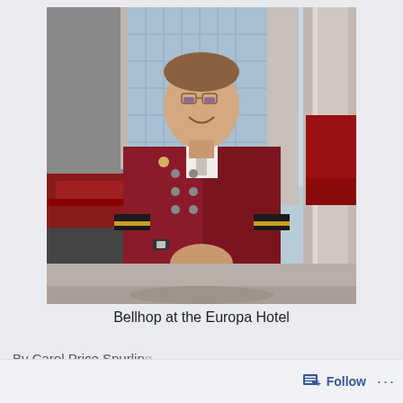[Figure (photo): A bellhop wearing a formal dark red/maroon double-breasted uniform coat with gold and black trim bands at the cuffs, white shirt and tie, and a badge or pin. He is standing in front of a modern hotel building with large columns and glass architecture, smiling at the camera.]
Bellhop at the Europa Hotel
By Carol Price Spurling